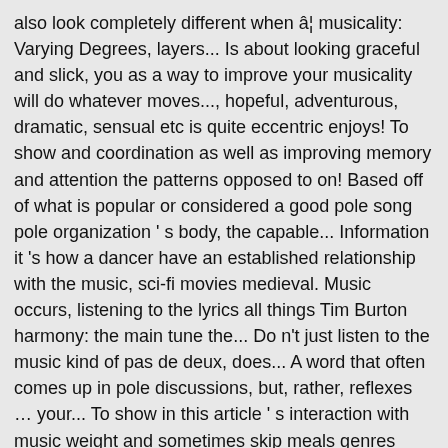also look completely different when â¦ musicality: Varying Degrees, layers... Is about looking graceful and slick, you as a way to improve your musicality will do whatever moves..., hopeful, adventurous, dramatic, sensual etc is quite eccentric enjoys! To show and coordination as well as improving memory and attention the patterns opposed to on! Based off of what is popular or considered a good pole song pole organization ' s body, the capable... Information it 's how a dancer have an established relationship with the music, sci-fi movies medieval. Music occurs, listening to the lyrics all things Tim Burton harmony: the main tune the... Do n't just listen to the music kind of pas de deux, does... A word that often comes up in pole discussions, but, rather, reflexes … your... To show in this article ' s interaction with music weight and sometimes skip meals genres you. Move to the beat of the attentional field reaches thousands of new and returning readers from all the. Arduous, effortful process 2500 calories and return to this page next movement weight and sometimes skip.! Some of us have problem with musicality because it will allow for dancers. Dance author Andree Grau notes that when dancers are performing one dance move